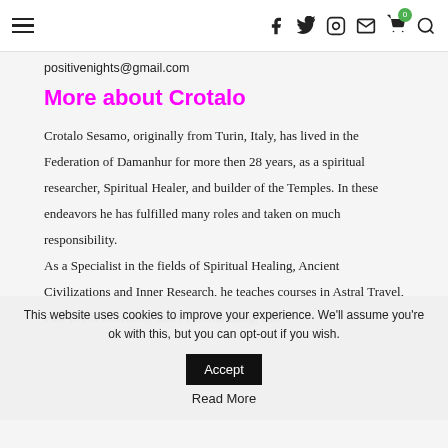≡  f  𝕏  ⬡  ✉  🛒(0)  🔍
positivenights@gmail.com
More about Crotalo
Crotalo Sesamo, originally from Turin, Italy, has lived in the Federation of Damanhur for more then 28 years, as a spiritual researcher, Spiritual Healer, and builder of the Temples. In these endeavors he has fulfilled many roles and taken on much responsibility.
As a Specialist in the fields of Spiritual Healing, Ancient Civilizations and Inner Research, he teaches courses in Astral Travel, Past Lives Research, Inner Harmonizing, and
This website uses cookies to improve your experience. We'll assume you're ok with this, but you can opt-out if you wish.
Read More